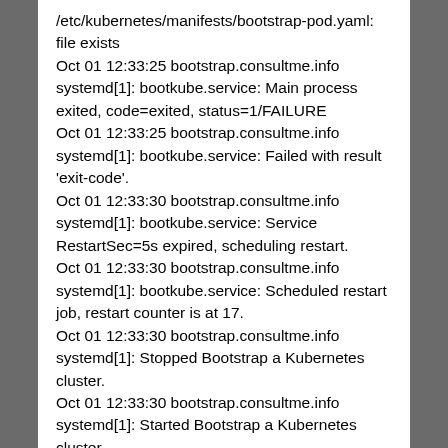/etc/kubernetes/manifests/bootstrap-pod.yaml: file exists
Oct 01 12:33:25 bootstrap.consultme.info systemd[1]: bootkube.service: Main process exited, code=exited, status=1/FAILURE
Oct 01 12:33:25 bootstrap.consultme.info systemd[1]: bootkube.service: Failed with result 'exit-code'.
Oct 01 12:33:30 bootstrap.consultme.info systemd[1]: bootkube.service: Service RestartSec=5s expired, scheduling restart.
Oct 01 12:33:30 bootstrap.consultme.info systemd[1]: bootkube.service: Scheduled restart job, restart counter is at 17.
Oct 01 12:33:30 bootstrap.consultme.info systemd[1]: Stopped Bootstrap a Kubernetes cluster.
Oct 01 12:33:30 bootstrap.consultme.info systemd[1]: Started Bootstrap a Kubernetes cluster.